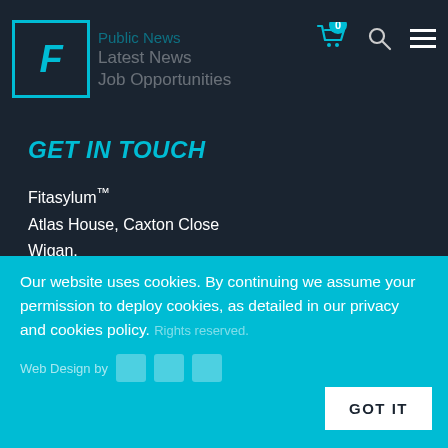[Figure (logo): Fitasylum logo: cyan square border with italic F, next to greyed-out nav items including Public News, Latest News, Job Opportunities]
[Figure (infographic): Header icons: cyan shopping cart with badge showing 0, search magnifier icon, hamburger menu icon]
GET IN TOUCH
Fitasylum™
Atlas House, Caxton Close
Wigan,
01942 255913 | Email us
[Figure (infographic): Social media icons row: Facebook, Twitter, Instagram, YouTube, Reddit, Google+, LinkedIn]
Our website uses cookies. By continuing we assume your permission to deploy cookies, as detailed in our privacy and cookies policy.
Web Design by [badges]
GOT IT